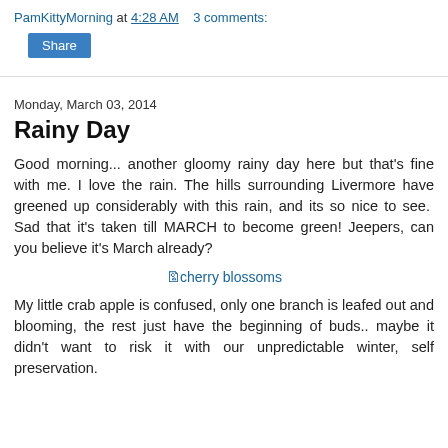PamKittyMorning at 4:28 AM   3 comments:
[Figure (other): Share button (blue rounded rectangle)]
Monday, March 03, 2014
Rainy Day
Good morning... another gloomy rainy day here but that's fine with me. I love the rain. The hills surrounding Livermore have greened up considerably with this rain, and its so nice to see.  Sad that it's taken till MARCH to become green! Jeepers, can you believe it's March already?
[Figure (photo): Broken image placeholder labeled 'cherry blossoms']
My little crab apple is confused, only one branch is leafed out and blooming, the rest just have the beginning of buds.. maybe it didn't want to risk it with our unpredictable winter, self preservation.